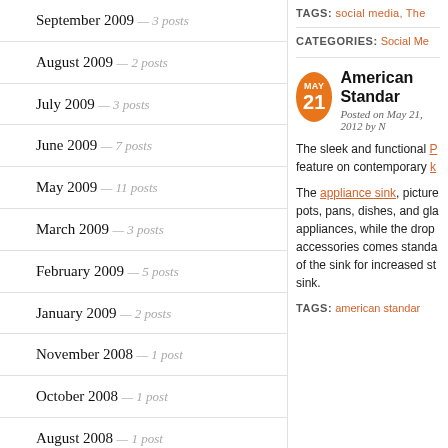September 2009 — 3 posts
August 2009 — 2 posts
July 2009 — 3 posts
June 2009 — 7 posts
May 2009 — 11 posts
March 2009 — 3 posts
February 2009 — 5 posts
January 2009 — 2 posts
November 2008 — 1 post
October 2008 — 1 post
August 2008 — 1 post
November 2007 — 1 post
TAGS: social media, The
CATEGORIES: Social Me
American Standar
Posted on May 21, 2012 by N
The sleek and functional P feature on contemporary k
The appliance sink, picture pots, pans, dishes, and gla appliances, while the drop accessories comes standa of the sink for increased st sink.
TAGS: american standar